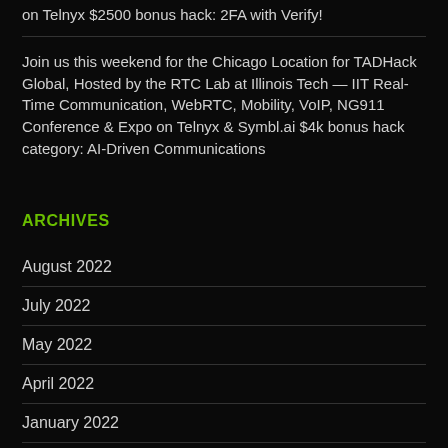on Telnyx $2500 bonus hack: 2FA with Verify!
Join us this weekend for the Chicago Location for TADHack Global, Hosted by the RTC Lab at Illinois Tech — IIT Real-Time Communication, WebRTC, Mobility, VoIP, NG911 Conference & Expo on Telnyx & Symbl.ai $4k bonus hack category: AI-Driven Communications
ARCHIVES
August 2022
July 2022
May 2022
April 2022
January 2022
December 2021